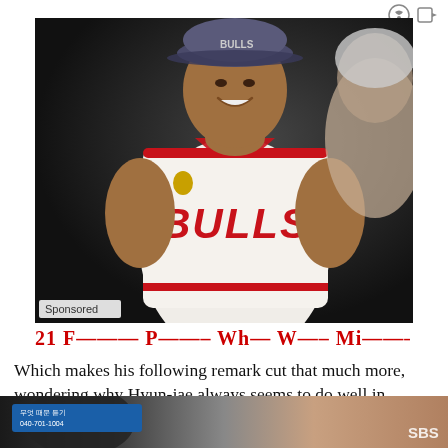[Figure (photo): Man wearing a Chicago Bulls basketball jersey and a cap, smiling, with another person partially visible in the background. Photo has a 'Sponsored' label in the lower left corner.]
Sponsored
21 Famous People Who Went Missing (partial, clipped)
Which makes his following remark cut that much more, wondering why Hyun-jae always seems to do well in practice but breaks down under pressure during competitions. He reminds Hyun-jae that, “high jumping is a battle of willpower.”

It’s brains over brawn and Hyun-jae tenses.
[Figure (screenshot): Partial bottom strip showing a Korean TV broadcast still, with a blue Korean subtitle overlay on the left and SBS logo on the right.]